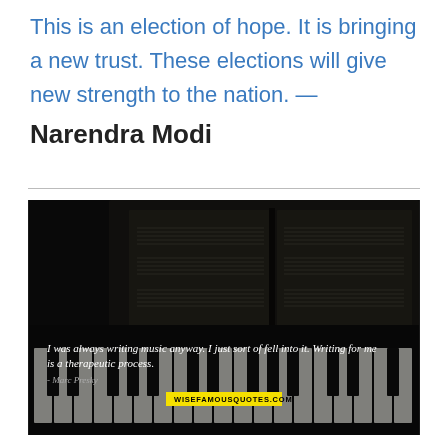This is an election of hope. It is bringing a new trust. These elections will give new strength to the nation. — Narendra Modi
[Figure (photo): Dark photograph of a piano keyboard with sheet music on a music stand, overlaid with a quote about writing music by Marc Presky and a wisefamousquotes.com watermark.]